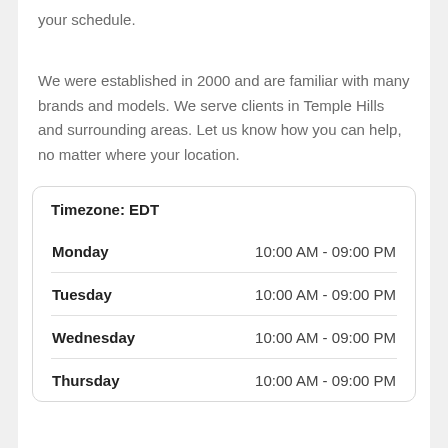your schedule.
We were established in 2000 and are familiar with many brands and models. We serve clients in Temple Hills and surrounding areas. Let us know how you can help, no matter where your location.
| Day | Hours |
| --- | --- |
| Monday | 10:00 AM - 09:00 PM |
| Tuesday | 10:00 AM - 09:00 PM |
| Wednesday | 10:00 AM - 09:00 PM |
| Thursday | 10:00 AM - 09:00 PM |